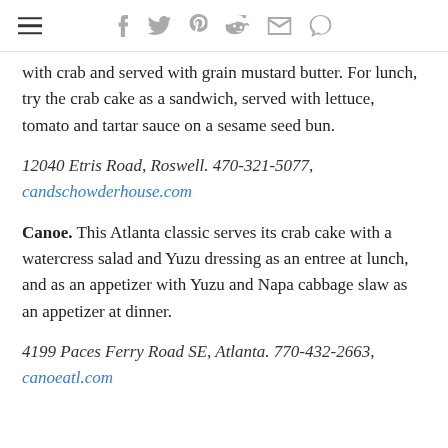navigation and social share icons
with crab and served with grain mustard butter. For lunch, try the crab cake as a sandwich, served with lettuce, tomato and tartar sauce on a sesame seed bun.
12040 Etris Road, Roswell. 470-321-5077, candschowderhouse.com
Canoe. This Atlanta classic serves its crab cake with a watercress salad and Yuzu dressing as an entree at lunch, and as an appetizer with Yuzu and Napa cabbage slaw as an appetizer at dinner.
4199 Paces Ferry Road SE, Atlanta. 770-432-2663, canoeatl.com